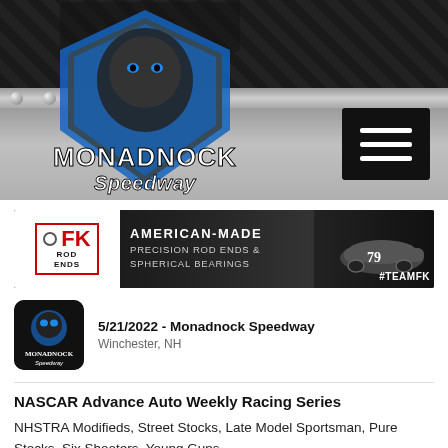[Figure (logo): Monadnock Speedway logo with panther mascot, checkered flags, blue diamond shield, and stylized text on dark gradient background with metal rivet strip and hamburger menu icon]
[Figure (infographic): FK Rod Ends advertisement banner: American-Made Precision Rod Ends & Spherical Bearings, #TEAMFK, with race car image]
5/21/2022 - Monadnock Speedway
Winchester, NH
NASCAR Advance Auto Weekly Racing Series
NHSTRA Modifieds, Street Stocks, Late Model Sportsman, Pure Stocks, Six Shooters, Young Guns
Companion Race Series and ATVs...